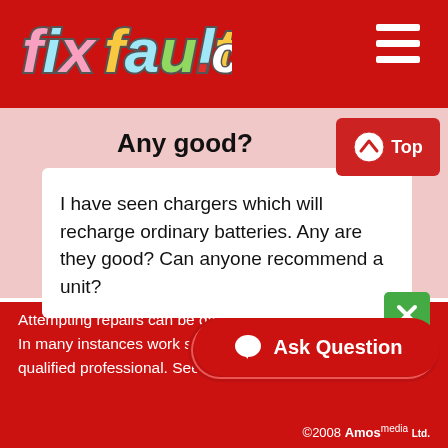fixfault.com
Any good?
I have seen chargers which will recharge ordinary batteries. Any are they good? Can anyone recommend a unit?
Attempting repairs can be dangerous. In many instances work should only be undertaken by a qualified professional. See Terms and Conditions.
©2008 Amos media Ltd.